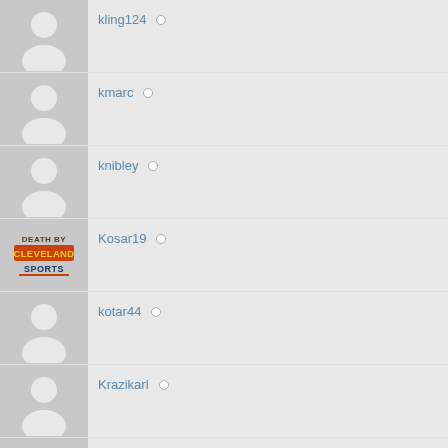kling124
kmarc
knibley
Kosar19
kotar44
Krazikarl
Krism
kschnur